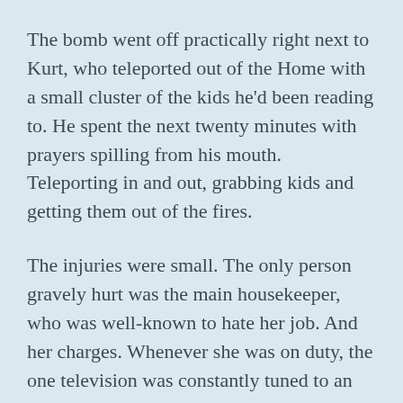The bomb went off practically right next to Kurt, who teleported out of the Home with a small cluster of the kids he'd been reading to. He spent the next twenty minutes with prayers spilling from his mouth. Teleporting in and out, grabbing kids and getting them out of the fires.
The injuries were small. The only person gravely hurt was the main housekeeper, who was well-known to hate her job. And her charges. Whenever she was on duty, the one television was constantly tuned to an anti-mutant broadcast.
Later investigation would reveal that she was the bomber.